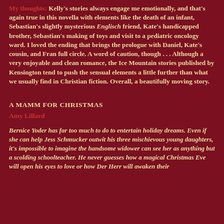My thoughts: Kelly's stories always engage me emotionally, and that's again true in this novella with elements like the death of an infant, Sebastian's slightly mysterious Englisch friend, Kate's handicapped brother, Sebastian's making of toys and visit to a pediatric oncology ward. I loved the ending that brings the prologue with Daniel, Kate's cousin, and Fran full circle. A word of caution, though . . . Although a very enjoyable and clean romance, the Ice Mountain stories published by Kensington tend to push the sensual elements a little further than what we usually find in Christian fiction. Overall, a beautifully moving story.
A MAMM FOR CHRISTMAS
Amy Lillard
Bernice Yoder has far too much to do to entertain holiday dreams. Even if she can help Jess Schmucker outwit his three mischievous young daughters, it's impossible to imagine the handsome widower can see her as anything but a scolding schoolteacher. He never guesses how a magical Christmas Eve will open his eyes to love or how Der Herr will awaken their